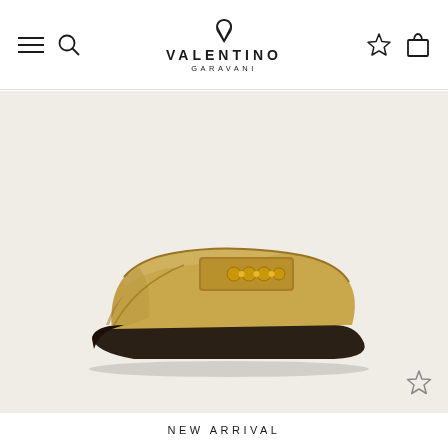Valentino Garavani website header with navigation icons and brand logo
[Figure (photo): Gold metallic Valentino Garavani loafer with chain embellishment on a beige/cream background]
NEW ARRIVAL